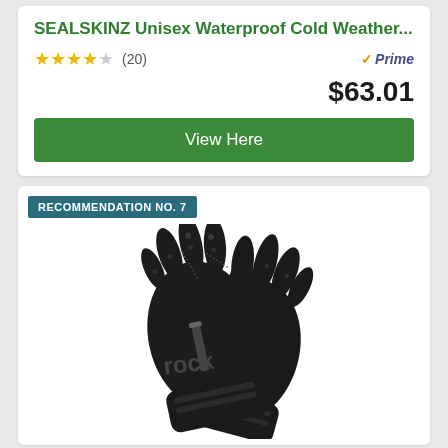SEALSKINZ Unisex Waterproof Cold Weather...
★★★★☆ (20)
$63.01
View Here
RECOMMENDATION NO. 7
[Figure (photo): Black waterproof cold weather gloves with zipper on wrist and ROCK brand logo, shown as a pair overlapping each other against white background.]